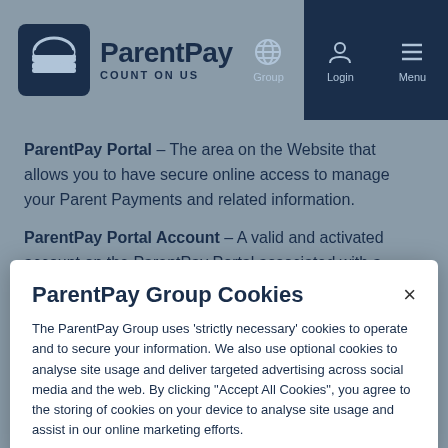ParentPay COUNT ON US | Group | Login | Menu
ParentPay Portal – The area on the Website that allows you to have secure online access to manage your Parent Payments and related information.
ParentPay Portal Account – A valid and activated account on the ParentPay Portal associated with a Parent.
ParentPay Group Cookies
The ParentPay Group uses 'strictly necessary' cookies to operate and to secure your information. We also use optional cookies to analyse site usage and deliver targeted advertising across social media and the web. By clicking "Accept All Cookies", you agree to the storing of cookies on your device to analyse site usage and assist in our online marketing efforts.